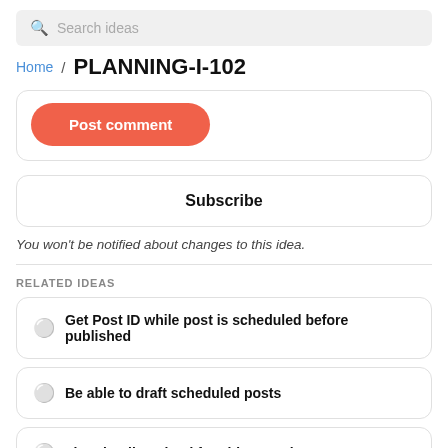Search ideas
Home / PLANNING-I-102
Post comment
Subscribe
You won't be notified about changes to this idea.
RELATED IDEAS
Get Post ID while post is scheduled before published
Be able to draft scheduled posts
Thumbnails upload for video postings